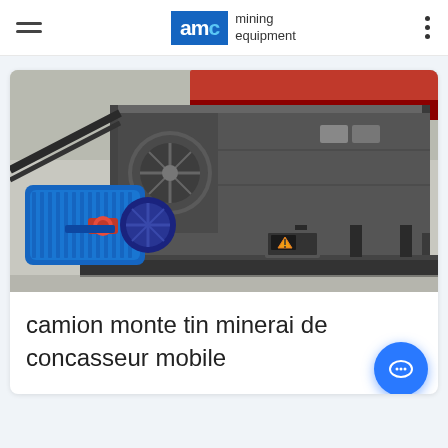AMC mining equipment
[Figure (photo): Industrial mining equipment: a large grey metal machine (tin ore crusher) with a prominent blue electric motor attached on the left side, red coupling, control panel on the front, mounted on a dark metal frame. Industrial warehouse setting.]
camion monte tin minerai de concasseur mobile